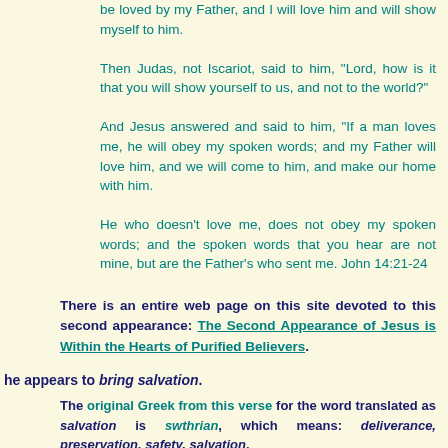be loved by my Father, and I will love him and will show myself to him. Then Judas, not Iscariot, said to him, "Lord, how is it that you will show yourself to us, and not to the world?" And Jesus answered and said to him, "If a man loves me, he will obey my spoken words; and my Father will love him, and we will come to him, and make our home with him. He who doesn't love me, does not obey my spoken words; and the spoken words that you hear are not mine, but are the Father's who sent me. John 14:21-24
There is an entire web page on this site devoted to this second appearance: The Second Appearance of Jesus is Within the Hearts of Purified Believers.
he appears to bring salvation.
The original Greek from this verse for the word translated as salvation is swthrian, which means: deliverance, preservation, safety, salvation.